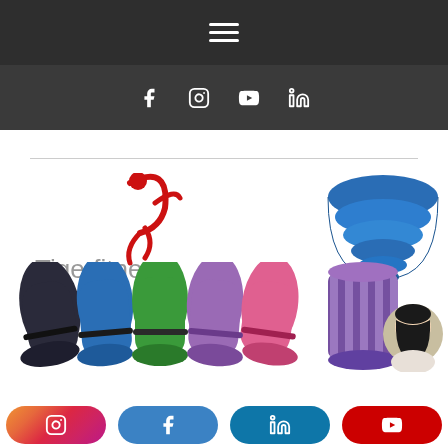[Figure (screenshot): Dark navigation header with hamburger menu icon (three horizontal white lines) on a dark gray background]
[Figure (screenshot): Dark gray social media icon bar with Facebook, Instagram, YouTube, and LinkedIn icons in white]
[Figure (logo): Tigerfitness logo with red stylized running figure and gray text 'Tigerfitness']
[Figure (photo): Rolled blue yoga mat standing upright on right side]
[Figure (photo): Row of colorful rolled yoga mats in black, blue, green, purple/lavender, and pink colors]
[Figure (photo): Rolled purple/blue yoga mat with circular portrait photo of a smiling Asian woman]
[Figure (screenshot): Bottom social media button bar with Instagram (gradient), Facebook (blue), LinkedIn (teal), and YouTube (red) rounded pill buttons]